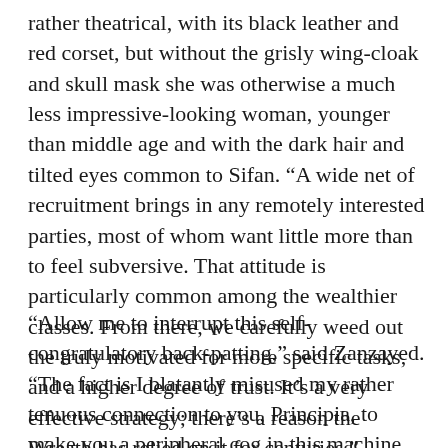rather theatrical, with its black leather and red corset, but without the grisly wing-cloak and skull mask she was otherwise a much less impressive-looking woman, younger than middle age and with the dark hair and tilted eyes common to Sifan. “A wide net of recruitment brings in any remotely interested parties, most of whom want little more than to feel subversive. That attitude is particularly common among the wealthier classes. From there, we carefully weed out the truly motivated for more specific tasks, and a higher degree of trust. It’s a very effective strategy; there’s a reason the Wreath has relied on it for centuries.”
“Allow me to interrupt this self-congratulatory back-patting,” said Zanzayed. “The fact is I blatantly misused my rather tenuous connection to you, Principia, to make you a peripheral cog in this machine. You have my sincere apologies.”